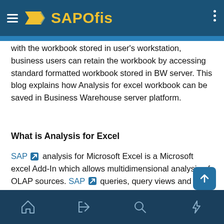SAPOfis
with the workbook stored in user's workstation, business users can retain the workbook by accessing standard formatted workbook stored in BW server. This blog explains how Analysis for excel workbook can be saved in Business Warehouse server platform.
What is Analysis for Excel
SAP analysis for Microsoft Excel is a Microsoft excel Add-In which allows multidimensional analysis of OLAP sources. SAP queries, query views and InfoProvider can be used as data sources. The data is displayed in the workbook in crosstabs.
Saving workbook in BW Business warehouse platform
home login search lightning